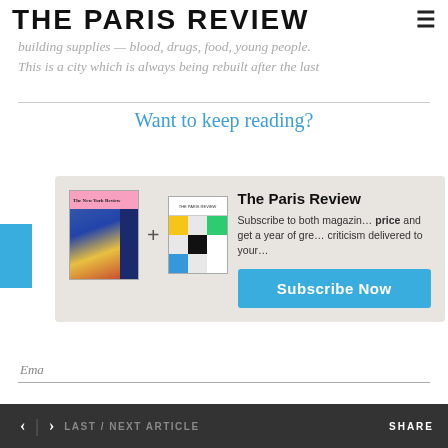THE PARIS REVIEW
...building supplies — blood, drugs, food, young people. This is a city which is always being rebuilt after the last...
Want to keep reading?
[Figure (other): Subscription modal with New York Review and The Paris Review magazine covers, plus sign between them, and text: The Paris Review — Subscribe to both magazines at a special price and get a year of great criticism delivered to your door. Subscribe Now button.]
Email
Password
< > LAST / NEXT ARTICLE   SHARE